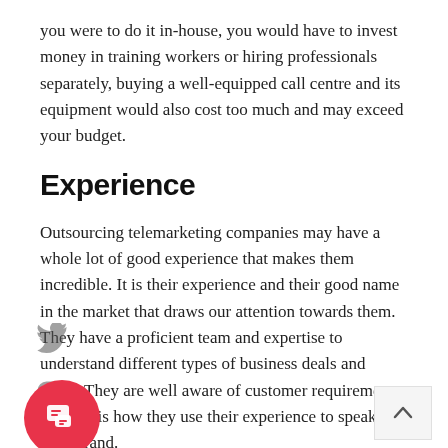you were to do it in-house, you would have to invest money in training workers or hiring professionals separately, buying a well-equipped call centre and its equipment would also cost too much and may exceed your budget.
Experience
Outsourcing telemarketing companies may have a whole lot of good experience that makes them incredible. It is their experience and their good name in the market that draws our attention towards them. They have a proficient team and expertise to understand different types of business deals and goals. They are well aware of customer requirements and this is how they use their experience to speak for your brand.
Brand Awareness
rce telemarketing helps effectively in your brand awareness using all the techniques and tactics they know